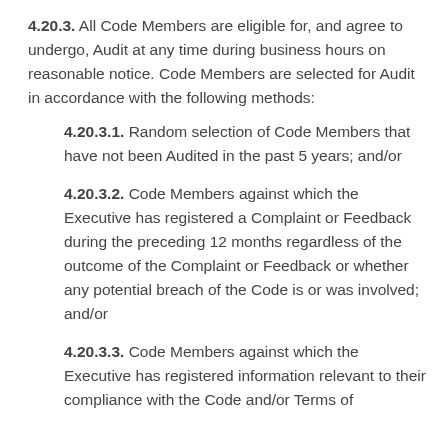4.20.3. All Code Members are eligible for, and agree to undergo, Audit at any time during business hours on reasonable notice. Code Members are selected for Audit in accordance with the following methods:
4.20.3.1. Random selection of Code Members that have not been Audited in the past 5 years; and/or
4.20.3.2. Code Members against which the Executive has registered a Complaint or Feedback during the preceding 12 months regardless of the outcome of the Complaint or Feedback or whether any potential breach of the Code is or was involved; and/or
4.20.3.3. Code Members against which the Executive has registered information relevant to their compliance with the Code and/or Terms of